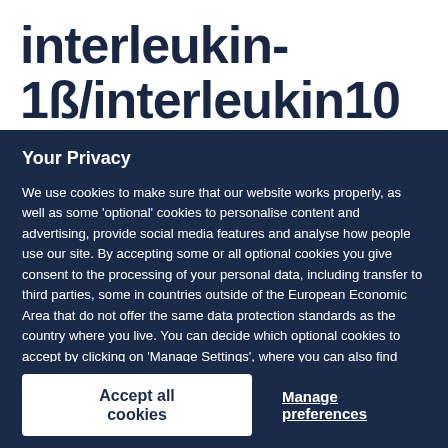interleukin-1ß/interleukin10 ratios
Your Privacy
We use cookies to make sure that our website works properly, as well as some 'optional' cookies to personalise content and advertising, provide social media features and analyse how people use our site. By accepting some or all optional cookies you give consent to the processing of your personal data, including transfer to third parties, some in countries outside of the European Economic Area that do not offer the same data protection standards as the country where you live. You can decide which optional cookies to accept by clicking on 'Manage Settings', where you can also find more information about how your personal data is processed. Further information can be found in our privacy policy.
Accept all cookies
Manage preferences